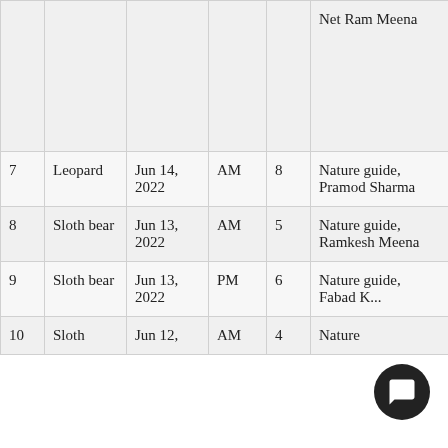| # | Species | Date | Time | Count | Observer |
| --- | --- | --- | --- | --- | --- |
|  |  |  |  |  | Net Ram Meena |
| 7 | Leopard | Jun 14, 2022 | AM | 8 | Nature guide, Pramod Sharma |
| 8 | Sloth bear | Jun 13, 2022 | AM | 5 | Nature guide, Ramkesh Meena |
| 9 | Sloth bear | Jun 13, 2022 | PM | 6 | Nature guide, Fabad K... |
| 10 | Sloth | Jun 12, | AM | 4 | Nature |